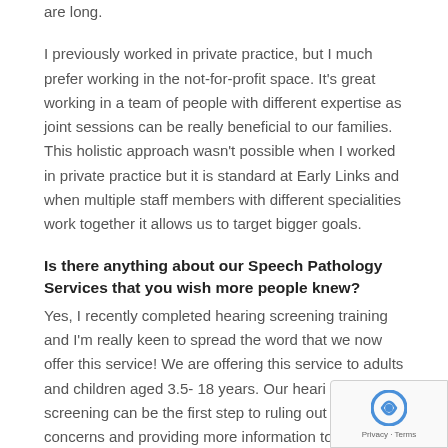are long.
I previously worked in private practice, but I much prefer working in the not-for-profit space. It's great working in a team of people with different expertise as joint sessions can be really beneficial to our families. This holistic approach wasn't possible when I worked in private practice but it is standard at Early Links and when multiple staff members with different specialities work together it allows us to target bigger goals.
Is there anything about our Speech Pathology Services that you wish more people knew?
Yes, I recently completed hearing screening training and I'm really keen to spread the word that we now offer this service! We are offering this service to adults and children aged 3.5- 18 years. Our hearing screening can be the first step to ruling out any concerns and providing more information to our